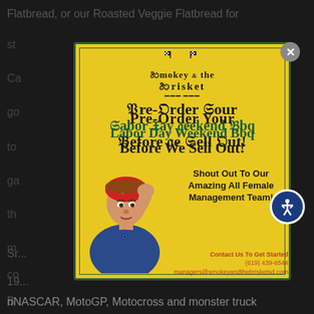Flatbread, or our Roasted Veggie Flatbread for
st...
Ca...
go...
[Figure (infographic): Smokey and the Brisket restaurant advertisement on yellow background with Rosie the Riveter illustration. Text reads: Pre-Order Your Labor Day Weekend BBQ Before We Sell Out! Shout Out To Our Amazing All Female Management Team! Contact Us To Get Started (619) 439-6544 managers@smokeyandthebrisketsd.com]
nNASCAR, MotoGP, Motocross and monster truck